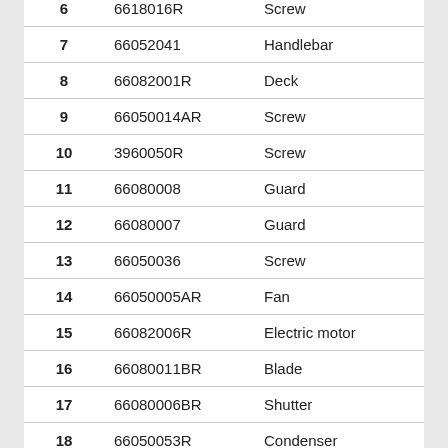| No. | Part No. | Description |
| --- | --- | --- |
| 6 | 6618016R | Screw |
| 7 | 66052041 | Handlebar |
| 8 | 66082001R | Deck |
| 9 | 66050014AR | Screw |
| 10 | 3960050R | Screw |
| 11 | 66080008 | Guard |
| 12 | 66080007 | Guard |
| 13 | 66050036 | Screw |
| 14 | 66050005AR | Fan |
| 15 | 66082006R | Electric motor |
| 16 | 66080011BR | Blade |
| 17 | 66080006BR | Shutter |
| 18 | 66050053R | Condenser |
| 19 | 3044087R | Band |
| 20 | 66080013 | Frame |
| 21 | 66080014R | Grassbag |
| 22 | 66050017 | Spring |
| 23 | 66080010 | Pin |
| 24 | 3860052 | Screw |